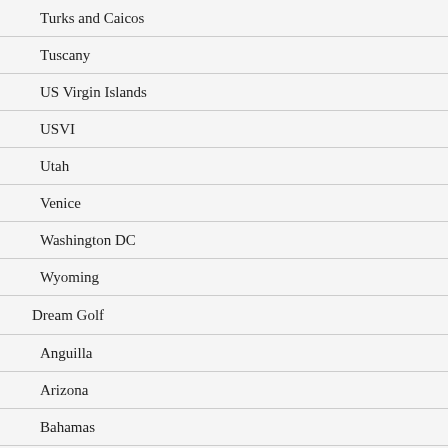Turks and Caicos
Tuscany
US Virgin Islands
USVI
Utah
Venice
Washington DC
Wyoming
Dream Golf
Anguilla
Arizona
Bahamas
Baja